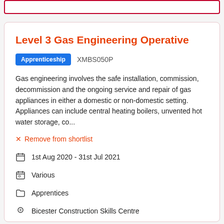Level 3 Gas Engineering Operative
Apprenticeship   XMBS050P
Gas engineering involves the safe installation, commission, decommission and the ongoing service and repair of gas appliances in either a domestic or non-domestic setting. Appliances can include central heating boilers, unvented hot water storage, co...
× Remove from shortlist
1st Aug 2020 - 31st Jul 2021
Various
Apprentices
Bicester Construction Skills Centre